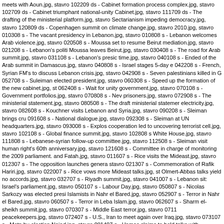meets with Aoun.jpg, stavro 102209 ds - Cabinet formation process complex.jpg, stavro 102709 ds - Cabinet triumphant national-unity Cabinet.jpg, stavro 111709 ds - The drafting of the ministerial platform.jpg, stavro Sectarianism impeding democracy.jpg, stavro 120809 ds - Copenhagen summit on climate change.jpg, stavro 2010.jpg, stavro 010308 s - The vacant presidency in Lebanon.jpg, stavro 010808 s - Lebanon welcomes Arab violence.jpg, stavro 020508 s - Moussa set to resume Beirut mediation.jpg, stavro 021208 s - Lebanon's politi Moussa leaves Beirut.jpg, stavro 030408 s - The road for Arab summit.jpg, stavro 031108 s - Lebanon's presic time.jpg, stavro 040108 s - Ended of the Arab summit in Damascus.jpg, stavro 040808 s - Israel stages 5-day e 042208 s - French, Syrian FM's to discuss Lebanon crisis.jpg, stavro 042908 s - Seven palestinians killed in G 052708 s - Suleiman elected president.jpg, stavro 060308 s - Speed up the formation of the new cabinet.jpg, st 062408 s - Wait for unity government.jpg, stavro 070108 s - Government portfolios.jpg, stavro 070808 s - Nev prisoners.jpg, stavro 072908 s - The ministerial statement.jpg, stavro 080508 s - The draft ministerial statemer electricity.jpg, stavro 082608 s - Kouchner visits Lebanon and Syria.jpg, stavro 090208 s - Sleiman brings cru 091608 s - National dialogue.jpg, stavro 092308 s - Sleiman at UN headquarters.jpg, stavro 093008 s - Explos cooperation led to uncovering terrorist cell.jpg, stavro 102108 s - Global finance summit.jpg, stavro 102808 s White House.jpg, stavro 111808 s - Lebanese-syrian follow-up committee.jpg, stavro 112508 s - Sleiman visit human right's 60th anniversary.jpg, stavro 121608 s - Committee in charge of monitoring the 2009 parliament. and Fatah.jpg, stavro 011607 s - Rice visits the Mideast.jpg, stavro 012307 s - The opposition launches genera stavro 021307 s - Commemoration of Rafik Hariri.jpg, stavro 022007 s - Rice vows more Mideast talks.jpg, st Olmert-Abbas talks yield no accords.jpg, stavro 032707 s - Riyadh summit.jpg, stavro 041007 s - Lebanon sit: Israel's parliament.jpg, stavro 050107 s - Labour Day.jpg, stavro 050807 s - Nicolas Sarkozy was elected presi Islamists in Nahr el Bared.jpg, stavro 052907 s - Terror in Nahr el Bared.jpg, stavro 060507 s - Terror in Leba Islam.jpg, stavro 062607 s - Sharm el-sheikh summit.jpg, stavro 070307 s - Middle East terror.jpg, stavro 0711 peacekeepers.jpg, stavro 072407 s - U.S., Iran to meet again over Iraq.jpg, stavro 073107 s - Metn by-election Najad.jpg, stavro 081407 s - Hamas claims to hold talks with Fatah.jpg, stavro 082107 s - The presidential.jpg September 11th anniversary.jpg, stavro 091807 s - 2007 new president.jpg, stavro 092507 s - The new head of 101607 s - Rice begins long process in mideast.jpg, stavro 102307 s - Consensus candidate.jpg, stavro 103007 president.jpg, stavro 112007 s - Lebanese presidency.jpg, stavro 112707 s - Annapolis peace summit.jpg, stavr the presidential session.jpg, stavro 122707 s - 2007-2008.jpg, stavro 010306 s - Lebanese atmosphere.jpg, stav nuclear activities.jpg, stavro 012406 s - Palestinian elections.jpg, stavro 012706 s - Hamas gains likely as Pale victory.jpg, stavro 020706 s - National unity.jpg, stavro 021006 s - Cartoons affairs.jpg, stavro 021406 s - One s - Terror & democracy in the Middle East.jpg, stavro 030706 s - Iran's nuclear problem.jpg, stavro 031006 s - anniversary.jpg, stavro 032506 s - The presidential crisis.jpg, stavro 032806 s - Khartoum summit.jpg, stavro 0 meets Bush.jpg, stavro 042506 s - Bin Laden tape.jpg, stavro 050306 s - Abbas ready to negotiate with Israelis National Dialogue.jpg, stavro 051906 s - High fuel prices.jpg, stavro 052306 s - Kuwait ruler dissolves parlian he'll meet with Abbas on peace plan.jpg, stavro 060906 s - Al-Zarqawi is dead.jpg, stavro 061306 s - Bramme: Israel rejects talks over abducted soldier.jpg, stavro 070406 s - Olmert rejects Palestinian militants' ultimatum. stavro 072506 s - Rice visits Lebanon and Israel.jpg, stavro 080106 s - The Israeli cease-fire.jpg, stavro 08080 U.N. peacekeeping force in Lebanon.jpg, stavro 082906 s - Annan in Lebanon for peace talks.jpg, stavro 0905 UN resolution 1701 remembers.jpg, stavro 091506 s - Internationalization of Lebanon.jpg, stavro 091906 s - - Deadly Gaza protests.jpg, stavro 101006 s - Bush's view on Iraq.jpg, stavro 101306 s - UNIFIL in Lebanon.j stavro 102106 s - Cross-party consultation meetings.jpg, stavro 110706 s - Saddam Hussein sentenced do...